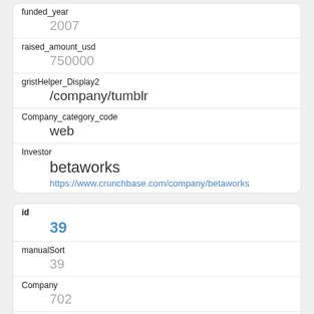| funded_year | 2007 |
| raised_amount_usd | 750000 |
| gristHelper_Display2 | /company/tumblr |
| Company_category_code | web |
| Investor | betaworks
https://www.crunchbase.com/company/betaworks |
| id | 39 |
| manualSort | 39 |
| Company | 702 |
| investor_permalink | /company/betaworks |